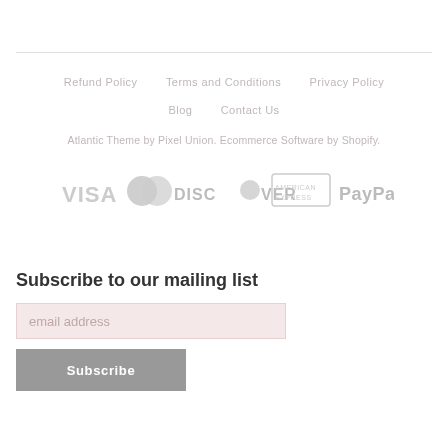Refund Policy   Terms and Conditions   Privacy Policy   Blog   Contact Us
Atlantic Theme by Pixel Union. Ecommerce Software by Shopify.
[Figure (logo): Payment method icons: VISA, Mastercard, Discover, American Express, PayPal — all in light gray]
Subscribe to our mailing list
email address
Subscribe